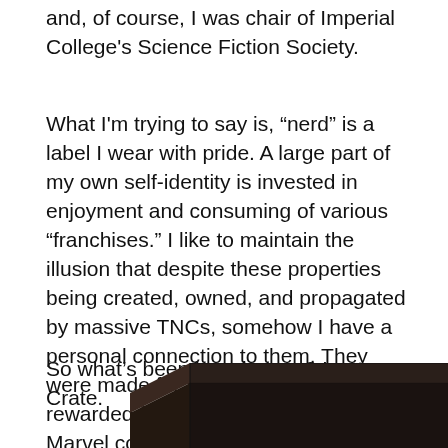and, of course, I was chair of Imperial College's Science Fiction Society.
What I'm trying to say is, “nerd” is a label I wear with pride. A large part of my own self-identity is invested in enjoyment and consuming of various “franchises.” I like to maintain the illusion that despite these properties being created, owned, and propagated by massive TNCs, somehow I have a personal connection to them. They were made for me to enjoy. I've been rewarded for my devotion to minutiae of Marvel comic book continuity by their adaptations on the big screen, etc. etc.
So what’s been bugging me? Loot Crate.
[Figure (photo): Partial view of a dark brown/black box, likely a Loot Crate subscription box, shown at the bottom of the page.]